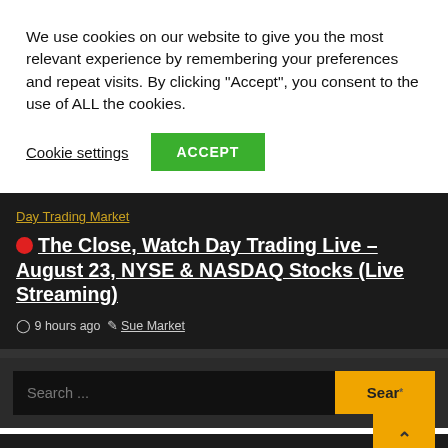We use cookies on our website to give you the most relevant experience by remembering your preferences and repeat visits. By clicking “Accept”, you consent to the use of ALL the cookies.
Cookie settings
ACCEPT
Day Trading Market
🔴 The Close, Watch Day Trading Live – August 23, NYSE & NASDAQ Stocks (Live Streaming)
🕐 9 hours ago  📝 Sue Market
Search ...
Sear